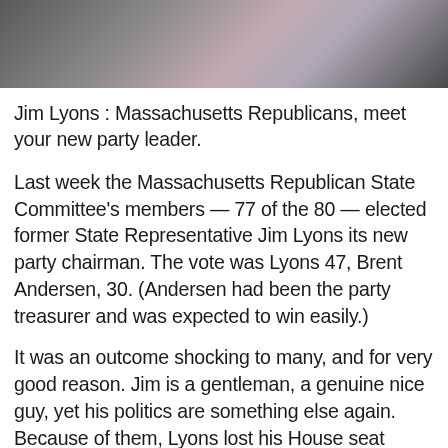[Figure (photo): Partial photograph showing a person in a suit with a light pink/lavender tie, cropped to show neck and torso area]
Jim Lyons : Massachusetts Republicans, meet your new party leader.
Last week the Massachusetts Republican State Committee's members — 77 of the 80 — elected former State Representative Jim Lyons its new party chairman. The vote was Lyons 47, Brent Andersen, 30. (Andersen had been the party treasurer and was expected to win easily.)
It was an outcome shocking to many, and for very good reason. Jim is a gentleman, a genuine nice guy, yet his politics are something else again. Because of them, Lyons lost his House seat (North Andover and parts